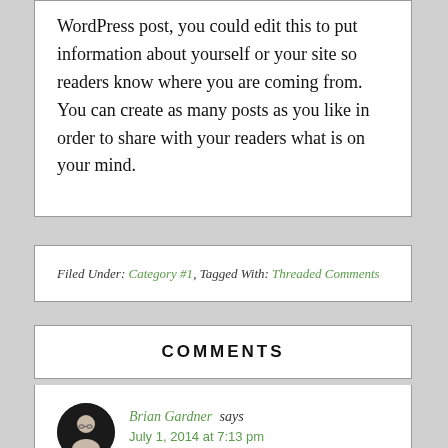WordPress post, you could edit this to put information about yourself or your site so readers know where you are coming from. You can create as many posts as you like in order to share with your readers what is on your mind.
Filed Under: Category #1, Tagged With: Threaded Comments
COMMENTS
Brian Gardner says July 1, 2014 at 7:13 pm